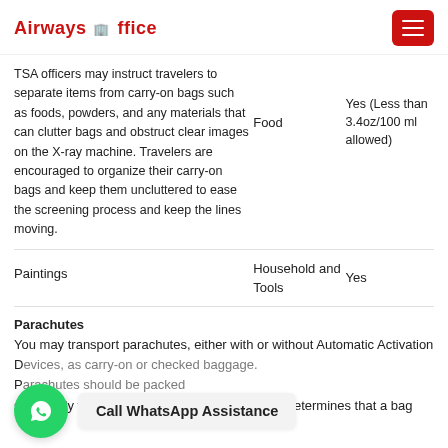Airways Office
TSA officers may instruct travelers to separate items from carry-on bags such as foods, powders, and any materials that can clutter bags and obstruct clear images on the X-ray machine. Travelers are encouraged to organize their carry-on bags and keep them uncluttered to ease the screening process and keep the lines moving.
Food
Yes (Less than 3.4oz/100 ml allowed)
Paintings
Household and Tools
Yes
Parachutes
You may transport parachutes, either with or without Automatic Activation Devices, as carry-on or checked baggage. Parachutes should be packed separately from other baggage. If a TSA officer determines that a bag
Call WhatsApp Assistance